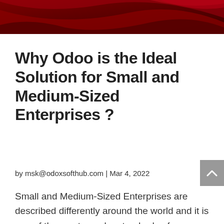[Figure (illustration): Dark red / crimson decorative banner header with abstract curved shapes and gradient, spanning the full width of the page at the top.]
Why Odoo is the Ideal Solution for Small and Medium-Sized Enterprises ?
by msk@odoxsofthub.com | Mar 4, 2022
Small and Medium-Sized Enterprises are described differently around the world and it is one of the most popular standards of